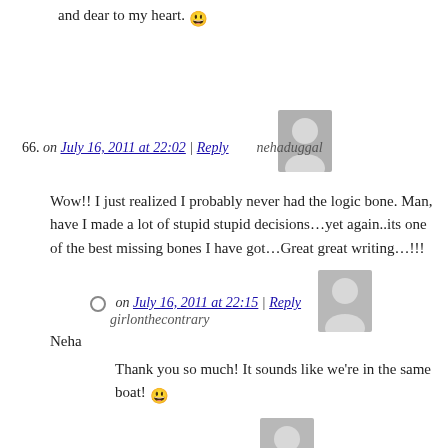and dear to my heart. 🙂
66. on July 16, 2011 at 22:02 | Reply nehaduggal
Wow!! I just realized I probably never had the logic bone. Man, have I made a lot of stupid stupid decisions…yet again..its one of the best missing bones I have got…Great great writing…!!!
Neha
on July 16, 2011 at 22:15 | Reply girlonthecontrary
Thank you so much! It sounds like we're in the same boat! 🙂